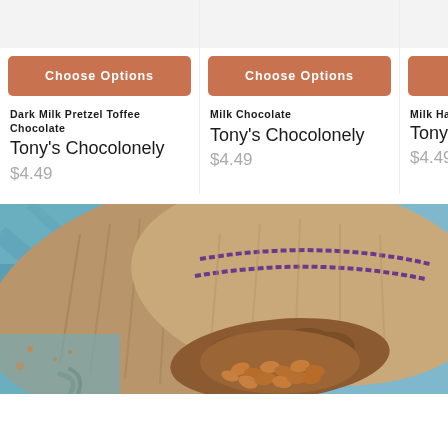[Figure (screenshot): Product card image placeholder (gray) for Dark Milk Pretzel Toffee Chocolate]
[Figure (screenshot): Product card image placeholder (gray) for Milk Chocolate]
[Figure (screenshot): Product card image placeholder (gray) for Milk Hazel (partially visible)]
Choose Options
Choose Options
Choos
Dark Milk Pretzel Toffee Chocolate
Tony's Chocolonely
$4.49
Milk Chocolate
Tony's Chocolonely
$4.49
Milk Hazelr
Tony's Ch
$4.49
[Figure (photo): Photograph of a person's hand holding cocoa beans over a burlap sack on a blue background]